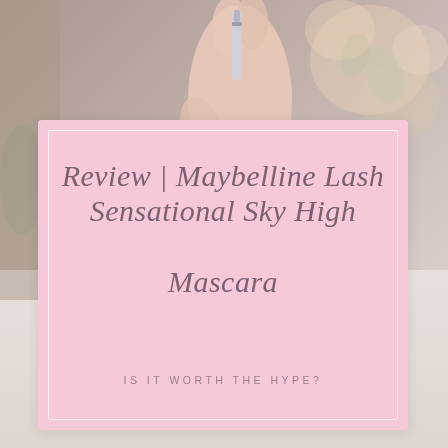[Figure (photo): A hand holding a Maybelline mascara tube (Lash Sensational Sky High), with a blurred floral background.]
Review | Maybelline Lash Sensational Sky High Mascara
IS IT WORTH THE HYPE?